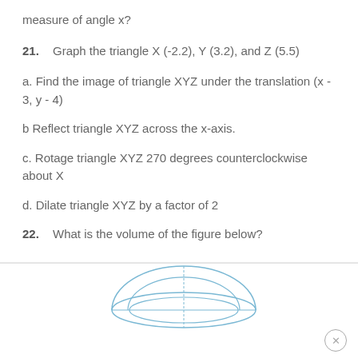measure of angle x?
21.   Graph the triangle X (-2.2), Y (3.2), and Z (5.5)
a. Find the image of triangle XYZ under the translation (x - 3, y - 4)
b Reflect triangle XYZ across the x-axis.
c. Rotage triangle XYZ 270 degrees counterclockwise about X
d. Dilate triangle XYZ by a factor of 2
22.   What is the volume of the figure below?
[Figure (illustration): Partial view of a 3D geometric figure (appears to be a cylinder or dome shape) shown in light blue outline at the bottom of the page]